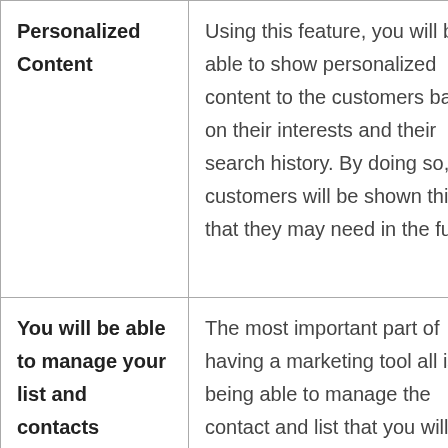| Feature | Description |
| --- | --- |
| Personalized Content | Using this feature, you will be able to show personalized content to the customers based on their interests and their search history. By doing so, the customers will be shown things that they may need in the future. |
| You will be able to manage your list and contacts | The most important part of having a marketing tool all is being able to manage the contact and list that you will be required for your business. By managing... |